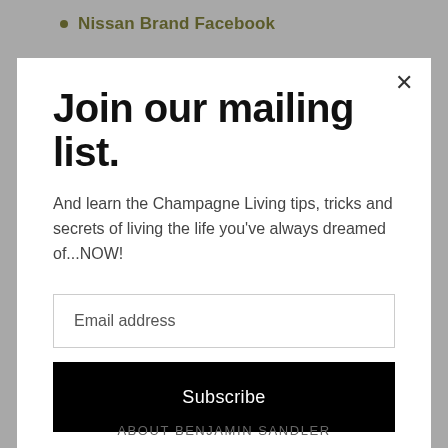Nissan Brand Facebook
Join our mailing list.
And learn the Champagne Living tips, tricks and secrets of living the life you've always dreamed of...NOW!
Email address
Subscribe
ABOUT BENJAMIN SANDLER